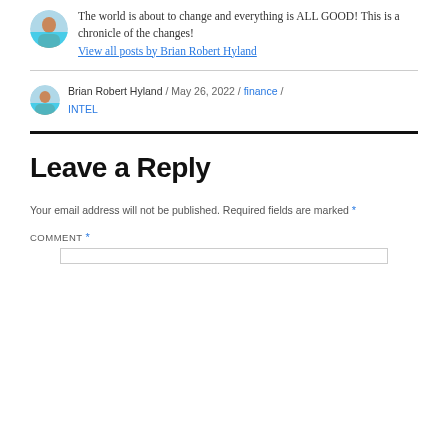The world is about to change and everything is ALL GOOD! This is a chronicle of the changes! View all posts by Brian Robert Hyland
Brian Robert Hyland / May 26, 2022 / finance / INTEL
Leave a Reply
Your email address will not be published. Required fields are marked *
COMMENT *